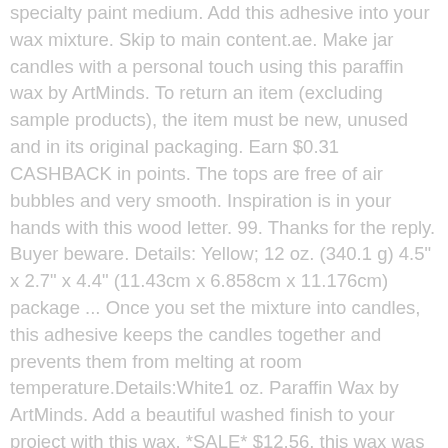specialty paint medium. Add this adhesive into your wax mixture. Skip to main content.ae. Make jar candles with a personal touch using this paraffin wax by ArtMinds. To return an item (excluding sample products), the item must be new, unused and in its original packaging. Earn $0.31 CASHBACK in points. The tops are free of air bubbles and very smooth. Inspiration is in your hands with this wood letter. 99. Thanks for the reply. Buyer beware. Details: Yellow; 12 oz. (340.1 g) 4.5" x 2.7" x 4.4" (11.43cm x 6.858cm x 11.176cm) package ... Once you set the mixture into candles, this adhesive keeps the candles together and prevents them from melting at room temperature.Details:White1 oz. Paraffin Wax by ArtMinds. Add a beautiful washed finish to your project with this wax. *SALE* $12.56. this wax was easy to use and although it said use a "brush" - I used a sponge brush and went on smoothly and the piece looks great. Easy to use. Thanks for the reply. FREE Shipping. Perfect for making the wood grain pop. You may return the item to a Michaels store or by mail. Give your home décor projects a rustic, vintage look with this specialty paint